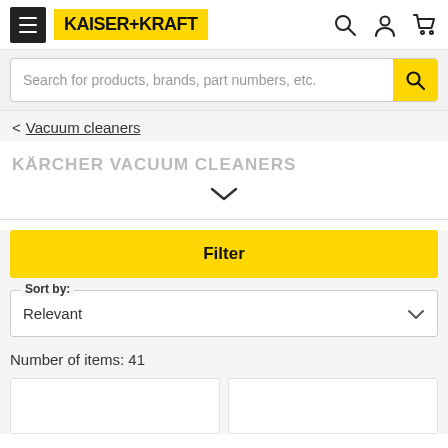KAISER+KRAFT
Search for products, brands, part numbers, etc.
< Vacuum cleaners
KÄRCHER VACUUM CLEANERS
Filter
Sort by: Relevant
Number of items: 41